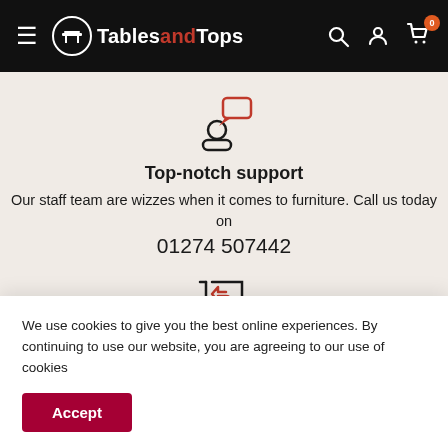TablesandTops - navigation header with logo, search, account, and cart icons
[Figure (illustration): Customer support icon: person silhouette with speech bubble above, outline style, dark with orange speech bubble]
Top-notch support
Our staff team are wizzes when it comes to furniture. Call us today on 01274 507442
[Figure (illustration): Returns icon: shopping cart with an orange return arrow, outline style]
Satisfied or refunded
We use cookies to give you the best online experiences. By continuing to use our website, you are agreeing to our use of cookies
Accept
Secure payments